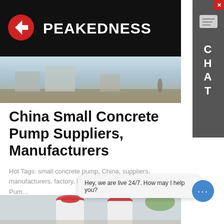PEAKEDNESS
[Figure (photo): Outdoor construction site scene with buildings and people in background, wide panoramic strip]
China Small Concrete Pump Suppliers, Manufacturers
Hot Tags: small concrete pump, China, suppliers, manufacturers, factory, buy, discount, High Output Line Pum…
Learn More
[Figure (photo): Industrial concrete pump machines, red and white cylindrical tanks, partially visible at bottom of page]
Hey, we are live 24/7. How may I help you?